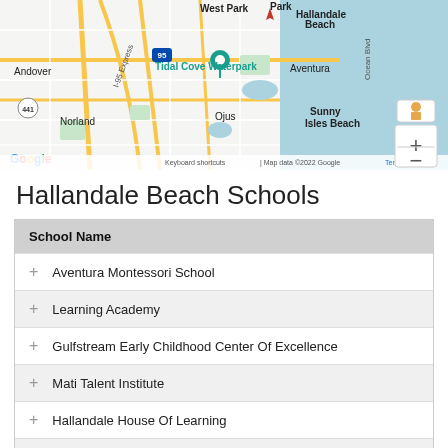[Figure (map): Google Maps view showing Hallandale Beach area with surrounding neighborhoods including West Park, Aventura, Norland, Ojus, Sunny Isles Beach, Andover, Tidal Cove Waterpark, I-95 Express, Ocean Blvd, and route 441. Map includes zoom controls and a pegman icon. Bottom bar shows: Keyboard shortcuts | Map data ©2022 Google | Terms of Use]
Hallandale Beach Schools
| School Name |
| --- |
| Aventura Montessori School |
| Learning Academy |
| Gulfstream Early Childhood Center Of Excellence |
| Mati Talent Institute |
| Hallandale House Of Learning |
| The Learning Corner Early Childhood Center |